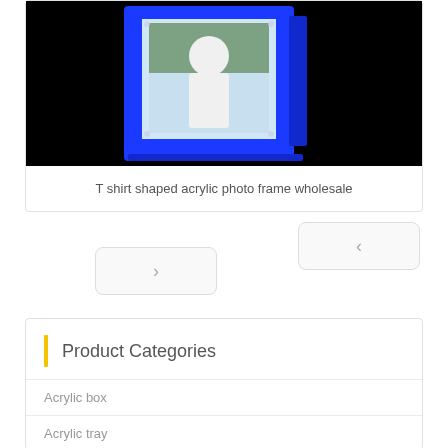[Figure (photo): Blue acrylic T-shirt shaped photo frame on black background, showing a photo of a child inside the frame]
T shirt shaped acrylic photo frame wholesale
[Figure (other): Navigation button with left arrow (<)]
[Figure (other): Navigation button with right arrow (>)]
Product Categories
Acrylic box
Acrylic tray